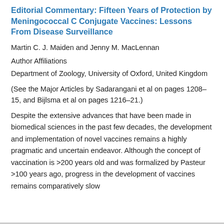Editorial Commentary: Fifteen Years of Protection by Meningococcal C Conjugate Vaccines: Lessons From Disease Surveillance
Martin C. J. Maiden and Jenny M. MacLennan
Author Affiliations
Department of Zoology, University of Oxford, United Kingdom
(See the Major Articles by Sadarangani et al on pages 1208–15, and Bijlsma et al on pages 1216–21.)
Despite the extensive advances that have been made in biomedical sciences in the past few decades, the development and implementation of novel vaccines remains a highly pragmatic and uncertain endeavor. Although the concept of vaccination is >200 years old and was formalized by Pasteur >100 years ago, progress in the development of vaccines remains comparatively slow